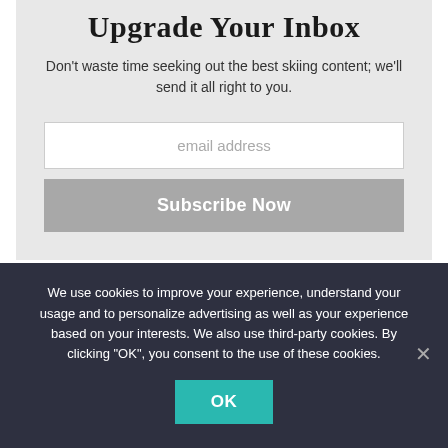Upgrade Your Inbox
Don't waste time seeking out the best skiing content; we'll send it all right to you.
email address
Subscribe Now
Must-Read Stories
We use cookies to improve your experience, understand your usage and to personalize advertising as well as your experience based on your interests. We also use third-party cookies. By clicking "OK", you consent to the use of these cookies.
OK